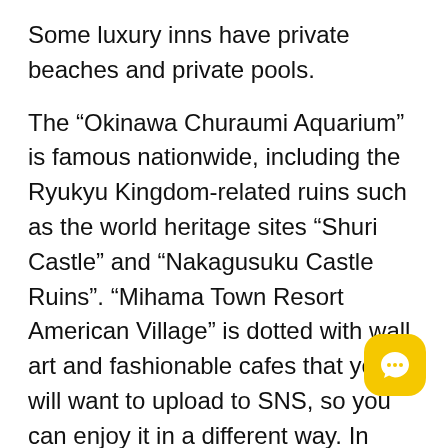Some luxury inns have private beaches and private pools.
The “Okinawa Churaumi Aquarium” is famous nationwide, including the Ryukyu Kingdom-related ruins such as the world heritage sites “Shuri Castle” and “Nakagusuku Castle Ruins”. “Mihama Town Resort American Village” is dotted with wall art and fashionable cafes that you will want to upload to SNS, so you can enjoy it in a different way. In addition, remote islands such as Miyakojima and Ishigaki...
[Figure (illustration): Yellow rounded-rectangle chat bubble button icon in bottom-right corner]